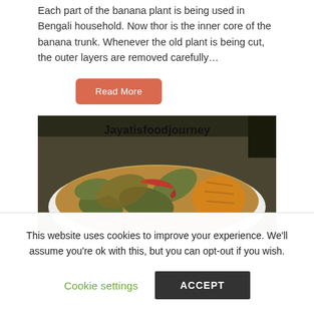Each part of the banana plant is being used in Bengali household. Now thor is the inner core of the banana trunk. Whenever the old plant is being cut, the outer layers are removed carefully…
Read More
[Figure (photo): A white bowl containing a spiced curry dish with green vegetables (likely pointed gourds/parwal), red chili pepper, and yellow potato pieces. Watermark text reads 'Jayatisfoodjourney'.]
This website uses cookies to improve your experience. We'll assume you're ok with this, but you can opt-out if you wish.
Cookie settings
ACCEPT